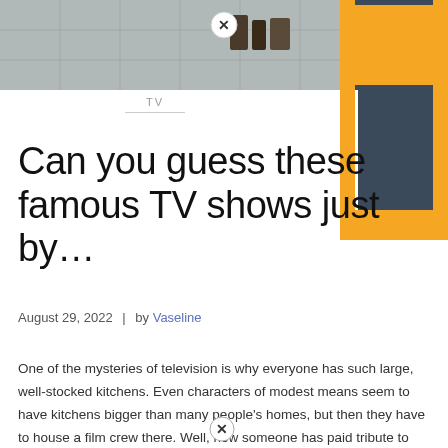[Figure (photo): Partial top image of a kitchen or bathroom scene with gray tiles, with orange framing on the right side and a close/X button overlay. An orange panel extends down the right side.]
TV
Can you guess these famous TV shows just by…
August 29, 2022  |  by Vaseline
One of the mysteries of television is why everyone has such large, well-stocked kitchens. Even characters of modest means seem to have kitchens bigger than many people's homes, but then they have to house a film crew there. Well, now someone has paid tribute to these stunning TV kitchen designs by creating detailed renderings of their floor plans. And they turned